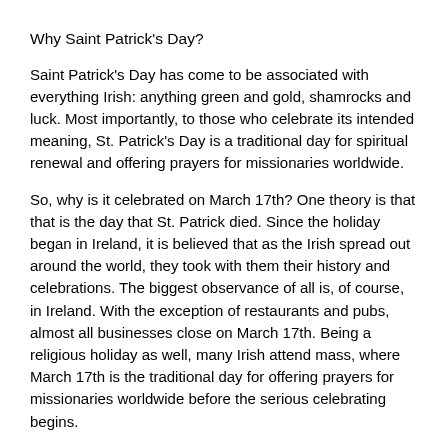Why Saint Patrick's Day?
Saint Patrick's Day has come to be associated with everything Irish: anything green and gold, shamrocks and luck. Most importantly, to those who celebrate its intended meaning, St. Patrick's Day is a traditional day for spiritual renewal and offering prayers for missionaries worldwide.
So, why is it celebrated on March 17th? One theory is that that is the day that St. Patrick died. Since the holiday began in Ireland, it is believed that as the Irish spread out around the world, they took with them their history and celebrations. The biggest observance of all is, of course, in Ireland. With the exception of restaurants and pubs, almost all businesses close on March 17th. Being a religious holiday as well, many Irish attend mass, where March 17th is the traditional day for offering prayers for missionaries worldwide before the serious celebrating begins.
In American cities with a large Irish population, St. Patrick's Day is a very big deal. Big cities and small towns alike celebrate with parades, "wearing of the green," music and songs, Irish food and drink, and activities for kids such as crafts, coloring and games